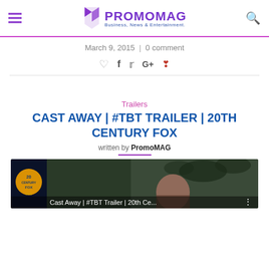PROMOMAG — Business, News & Entertainment.
March 9, 2015 | 0 comment
Social share icons: heart, facebook, twitter, google+, pinterest
Trailers
CAST AWAY | #TBT TRAILER | 20TH CENTURY FOX
written by PromoMAG
[Figure (screenshot): Video thumbnail for Cast Away | #TBT Trailer | 20th Ce... with 20th Century Fox logo on the left and a person's face visible on the right side against a tropical background]